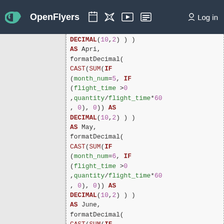OpenFlyers — Log in
DECIMAL(10,2) ) )
AS Apri,
    formatDecimal(
CAST(SUM(IF
(month_num=5, IF
(flight_time >0
,quantity/flight_time*60
, 0), 0))  AS
DECIMAL(10,2) ) )
AS May,
    formatDecimal(
CAST(SUM(IF
(month_num=6, IF
(flight_time >0
,quantity/flight_time*60
, 0), 0))  AS
DECIMAL(10,2) ) )
AS June,
    formatDecimal(
CAST(SUM(IF
(month_num=7, IF
(flight_time >0
,quantity/flight_time*60
, 0), 0))  AS
DECIMAL(10,2) ) )
AS July,
    formatDecimal(